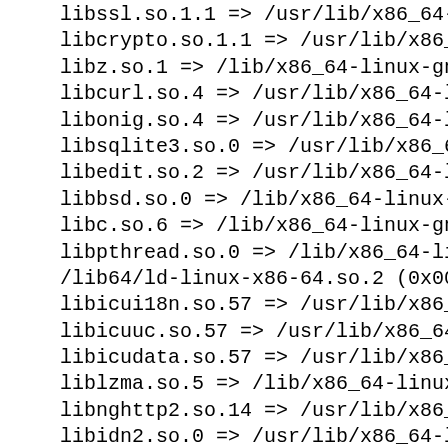libssl.so.1.1 => /usr/lib/x86_64-li
libcrypto.so.1.1 => /usr/lib/x86_64
libz.so.1 => /lib/x86_64-linux-gnu/
libcurl.so.4 => /usr/lib/x86_64-lin
libonig.so.4 => /usr/lib/x86_64-lin
libsqlite3.so.0 => /usr/lib/x86_64-
libedit.so.2 => /usr/lib/x86_64-lin
libbsd.so.0 => /lib/x86_64-linux-gn
libc.so.6 => /lib/x86_64-linux-gnu/
libpthread.so.0 => /lib/x86_64-linu
/lib64/ld-linux-x86-64.so.2 (0x0000
libicui18n.so.57 => /usr/lib/x86_64
libicuuc.so.57 => /usr/lib/x86_64-l
libicudata.so.57 => /usr/lib/x86_64
liblzma.so.5 => /lib/x86_64-linux-g
libnghttp2.so.14 => /usr/lib/x86_64
libidn2.so.0 => /usr/lib/x86_64-lin
librtmp.so.1 => /usr/lib/x86_64-lin
libssh2.so.1 => /usr/lib/x86_64-lin